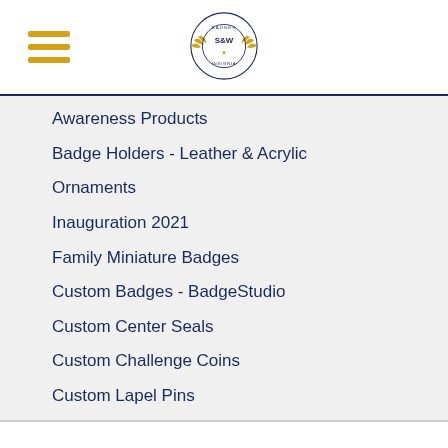[Figure (logo): S&W Badges & Insignia circular logo with wings]
Awareness Products
Badge Holders - Leather & Acrylic
Ornaments
Inauguration 2021
Family Miniature Badges
Custom Badges - BadgeStudio
Custom Center Seals
Custom Challenge Coins
Custom Lapel Pins
Contact
Smith & Warren 127 Oakley Ave.